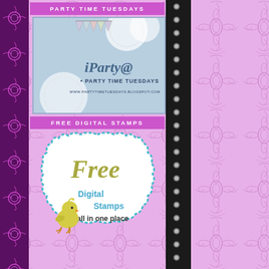PARTY TIME TUESDAYS
[Figure (illustration): iParty@ Party Time Tuesdays banner image with bunting and doilies on blue background, URL www.partytimetuesdays.blogspot.com]
FREE DIGITAL STAMPS
[Figure (illustration): Free Digital Stamps badge with teal scalloped border, cursive 'Free' in olive/gold, 'Digital Stamps all in one place' text, and a cartoon yellow chick character]